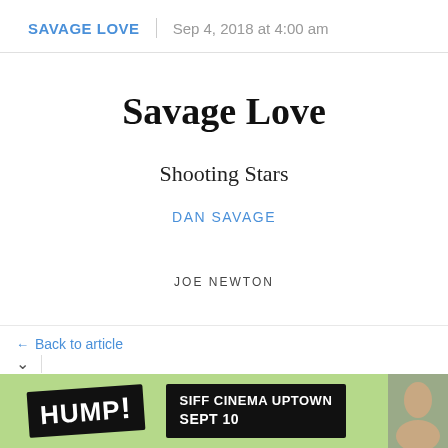SAVAGE LOVE | Sep 4, 2018 at 4:00 am
Savage Love
Shooting Stars
DAN SAVAGE
JOE NEWTON
← Back to article
[Figure (photo): HUMP! advertisement banner with SIFF Cinema Uptown Sept 10 text and a portrait photo]